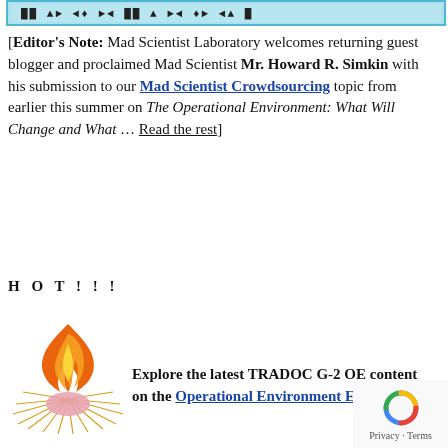[Figure (screenshot): Top banner image with decorative header content, teal/cyan border]
[Editor's Note: Mad Scientist Laboratory welcomes returning guest blogger and proclaimed Mad Scientist Mr. Howard R. Simkin with his submission to our Mad Scientist Crowdsourcing topic from earlier this summer on The Operational Environment: What Will Change and What … Read the rest
H O T ! ! !
[Figure (illustration): Flame/fire illustration with a flower or sea urchin-like base, orange and yellow flame]
Explore the latest TRADOC G-2 OE content on the Operational Environment Enterprise